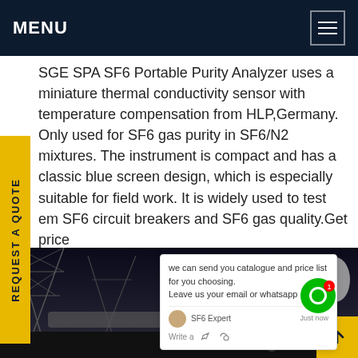MENU
SGE SPA SF6 Portable Purity Analyzer uses a miniature thermal conductivity sensor with temperature compensation from HLP,Germany. Only used for SF6 gas purity in SF6/N2 mixtures. The instrument is compact and has a classic blue screen design, which is especially suitable for field work. It is widely used to test em SF6 circuit breakers and SF6 gas quality.Get price
[Figure (photo): Nighttime industrial photo showing power transmission tower structures and a large cylindrical tank/pipe, with a worker visible in the background]
REQUEST A QUOTE